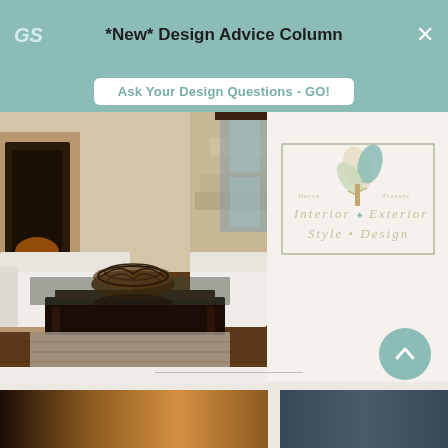*New* Design Advice Column
Ask Your Design Questions - GO!
[Figure (photo): Interior living room photo showing a dark wood and glass coffee table with a decorative dark woven bowl on top, white sofas, marble stairs in background, fireplace on left wall]
[Figure (logo): Interior & Exterior Style • Design logo with a stylized leaf/tree in teal and cream colors inside a rectangular border]
[Figure (photo): Two thumbnail images at bottom of page, partially visible: left shows warm interior with orange/amber lighting, right shows dark blue-grey scene]